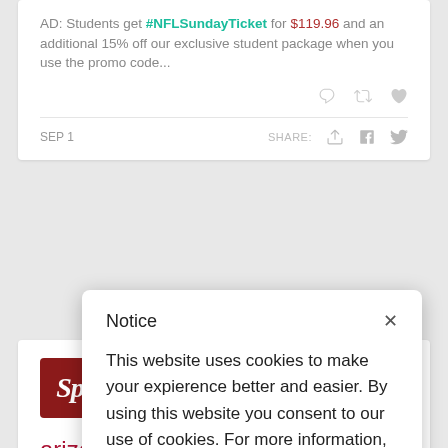AD: Students get #NFLSundayTicket for $119.96 and an additional 15% off our exclusive student package when you use the promo code...
SEP 1    SHARE:
[Figure (screenshot): The State Press Twitter profile with SP logo and Follow button]
arizona state university
Notice
This website uses cookies to make your expierence better and easier. By using this website you consent to our use of cookies. For more information, please see our Cookie Policy.